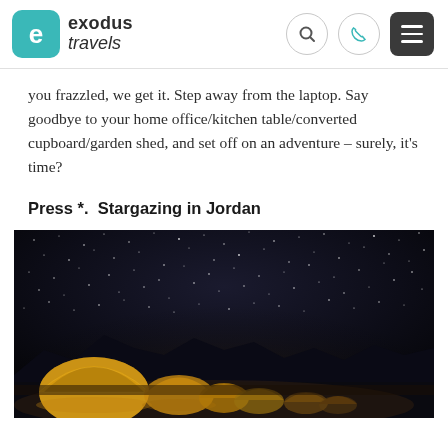exodus travels
you frazzled, we get it. Step away from the laptop. Say goodbye to your home office/kitchen table/converted cupboard/garden shed, and set off on an adventure – surely, it's time?
Press *.  Stargazing in Jordan
[Figure (photo): Night sky photograph showing a starry sky above illuminated geodesic dome tents in what appears to be a desert landscape in Jordan (Wadi Rum). The domes are glowing golden/orange from interior lighting against the dark night sky filled with stars.]